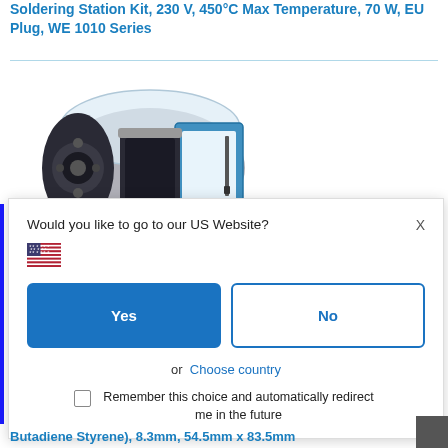Soldering Station Kit, 230 V, 450°C Max Temperature, 70 W, EU Plug, WE 1010 Series
[Figure (photo): Product photo of a 3D printer or soldering station device with metallic cylindrical body and blue/transparent enclosure.]
Would you like to go to our US Website?
[Figure (illustration): US flag emoji/icon]
Yes
No
or  Choose country
Remember this choice and automatically redirect me in the future
Butadiene Styrene), 8.3mm, 54.5mm x 83.5mm